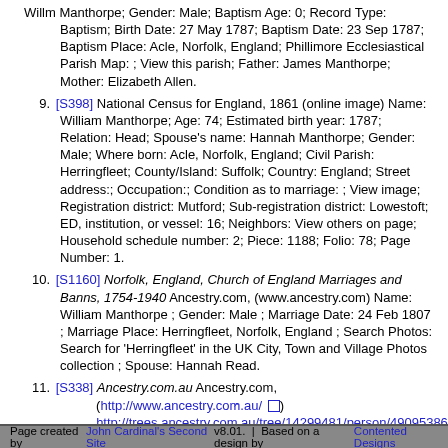Willm Manthorpe; Gender: Male; Baptism Age: 0; Record Type: Baptism; Birth Date: 27 May 1787; Baptism Date: 23 Sep 1787; Baptism Place: Acle, Norfolk, England; Phillimore Ecclesiastical Parish Map: ; View this parish; Father: James Manthorpe; Mother: Elizabeth Allen.
9. [S398] National Census for England, 1861 (online image) Name: William Manthorpe; Age: 74; Estimated birth year: 1787; Relation: Head; Spouse's name: Hannah Manthorpe; Gender: Male; Where born: Acle, Norfolk, England; Civil Parish: Herringfleet; County/Island: Suffolk; Country: England; Street address:; Occupation:; Condition as to marriage: ; View image; Registration district: Mutford; Sub-registration district: Lowestoft; ED, institution, or vessel: 16; Neighbors: View others on page; Household schedule number: 2; Piece: 1188; Folio: 78; Page Number: 1.
10. [S1160] Norfolk, England, Church of England Marriages and Banns, 1754-1940 Ancestry.com, (www.ancestry.com) Name: William Manthorpe ; Gender: Male ; Marriage Date: 24 Feb 1807 ; Marriage Place: Herringfleet, Norfolk, England ; Search Photos: Search for 'Herringfleet' in the UK City, Town and Village Photos collection ; Spouse: Hannah Read.
11. [S338] Ancestry.com.au Ancestry.com, (http://www.ancestry.com.au/) http://trees.ancestry.com.au/tree/14299481/person/490953860
timandpolly@gmail.com
Site updated on 24 Apr 2022 at 6:54:32 PM; 6,545 people
Page created by John Cardinal's Second Site v8.01.  |  Based on a design by Contented Designs